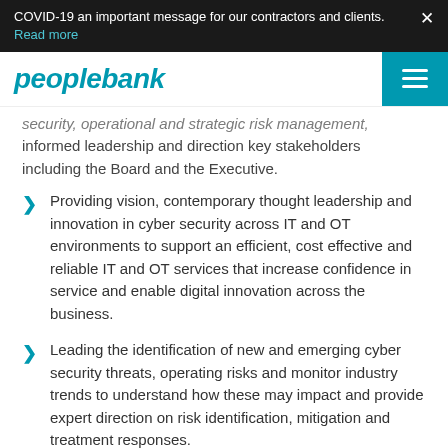COVID-19 an important message for our contractors and clients. Read more
[Figure (logo): Peoplebank company logo in teal italic bold font with hamburger menu icon]
security, operational and strategic risk management, informed leadership and direction key stakeholders including the Board and the Executive.
Providing vision, contemporary thought leadership and innovation in cyber security across IT and OT environments to support an efficient, cost effective and reliable IT and OT services that increase confidence in service and enable digital innovation across the business.
Leading the identification of new and emerging cyber security threats, operating risks and monitor industry trends to understand how these may impact and provide expert direction on risk identification, mitigation and treatment responses.